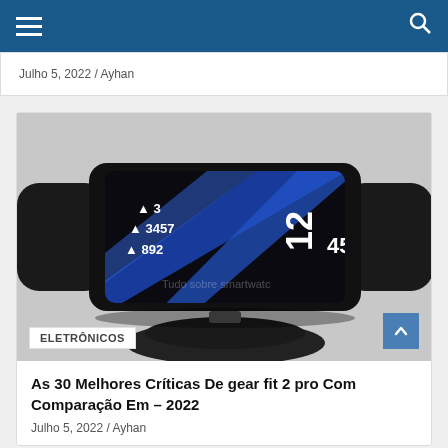Navigation bar with hamburger menu and search icon
Julho 5, 2022 / Ayhan
[Figure (photo): Samsung Gear Fit 2 Pro smartwatch on a charging dock, displaying fitness stats (3, 3457, 892) and time (12:45) on a blue screen]
ELETRÔNICOS
As 30 Melhores Críticas De gear fit 2 pro Com Comparação Em – 2022
Julho 5, 2022 / Ayhan